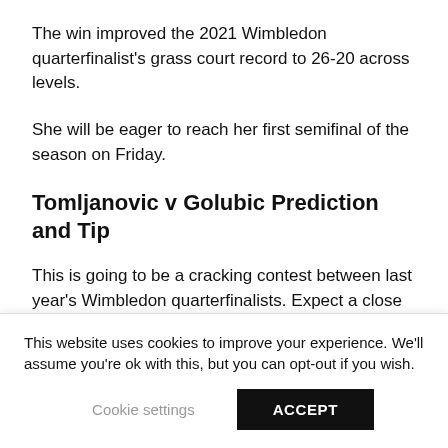The win improved the 2021 Wimbledon quarterfinalist's grass court record to 26-20 across levels.
She will be eager to reach her first semifinal of the season on Friday.
Tomljanovic v Golubic Prediction and Tip
This is going to be a cracking contest between last year's Wimbledon quarterfinalists. Expect a close match, with Golubic edging past Tomljanovic.
Tip: Golubic to win in three sets: 1/1
(Click here to Bet with bet365)
This website uses cookies to improve your experience. We'll assume you're ok with this, but you can opt-out if you wish.